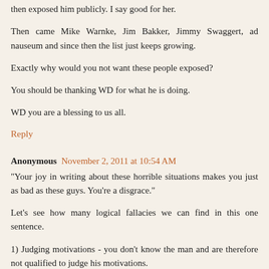then exposed him publicly. I say good for her.
Then came Mike Warnke, Jim Bakker, Jimmy Swaggert, ad nauseum and since then the list just keeps growing.
Exactly why would you not want these people exposed?
You should be thanking WD for what he is doing.
WD you are a blessing to us all.
Reply
Anonymous November 2, 2011 at 10:54 AM
"Your joy in writing about these horrible situations makes you just as bad as these guys. You're a disgrace."
Let's see how many logical fallacies we can find in this one sentence.
1) Judging motivations - you don't know the man and are therefore not qualified to judge his motivations.